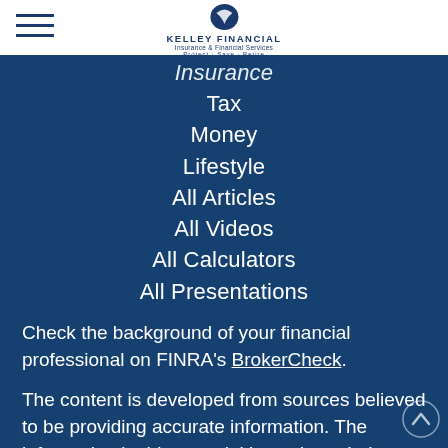Kelley Financial — Insurance & Financial Services
Insurance
Tax
Money
Lifestyle
All Articles
All Videos
All Calculators
All Presentations
Check the background of your financial professional on FINRA's BrokerCheck.
The content is developed from sources believed to be providing accurate information. The information in this material is not intended as tax or legal advice. Please consult legal or tax professionals